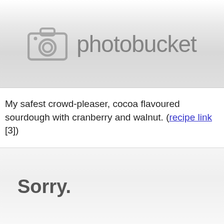[Figure (other): Photobucket image placeholder with camera icon and 'photobucket' text on a light gray gradient background]
My safest crowd-pleaser, cocoa flavoured sourdough with cranberry and walnut. (recipe link [3])
[Figure (other): Second Photobucket placeholder showing 'Sorry.' text on a light gray background]